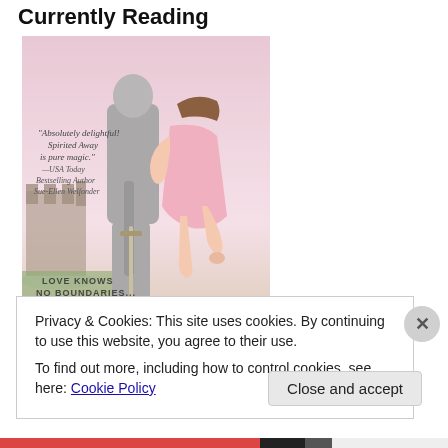Currently Reading
[Figure (illustration): Book cover of 'Spirited' showing a knight in armor and a woman in a pink dress embracing, with a castle in the background and the quote 'Absolutely delightful! Spirited Away is pure magic.' — USA Today Bestselling Author Sue-Ellen Welfonder. Text reads LOVE KNOWS NO BOUNDARIES...]
Privacy & Cookies: This site uses cookies. By continuing to use this website, you agree to their use.
To find out more, including how to control cookies, see here: Cookie Policy
Close and accept